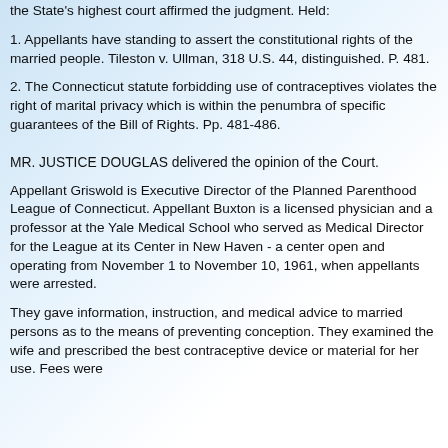the State's highest court affirmed the judgment. Held:
1. Appellants have standing to assert the constitutional rights of the married people. Tileston v. Ullman, 318 U.S. 44, distinguished. P. 481.
2. The Connecticut statute forbidding use of contraceptives violates the right of marital privacy which is within the penumbra of specific guarantees of the Bill of Rights. Pp. 481-486.
MR. JUSTICE DOUGLAS delivered the opinion of the Court.
Appellant Griswold is Executive Director of the Planned Parenthood League of Connecticut. Appellant Buxton is a licensed physician and a professor at the Yale Medical School who served as Medical Director for the League at its Center in New Haven - a center open and operating from November 1 to November 10, 1961, when appellants were arrested.
They gave information, instruction, and medical advice to married persons as to the means of preventing conception. They examined the wife and prescribed the best contraceptive device or material for her use. Fees were